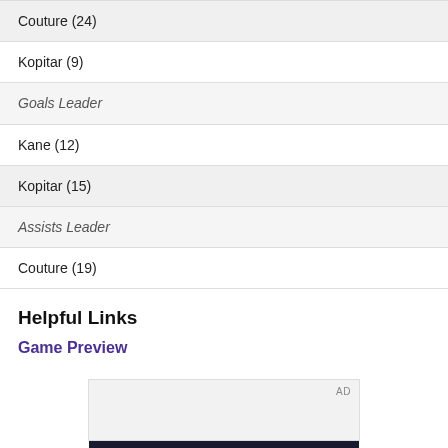Couture (24)
Kopitar (9)
Goals Leader
Kane (12)
Kopitar (15)
Assists Leader
Couture (19)
Helpful Links
Game Preview
[Figure (screenshot): Advertisement box with dark image strip at bottom]